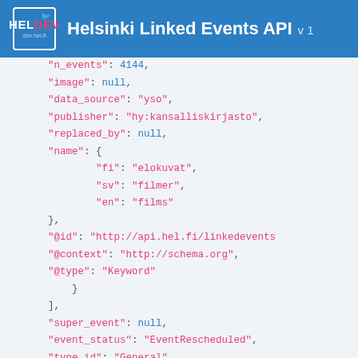Helsinki Linked Events API v 1
"n_events": 4144,
"image": null,
"data_source": "yso",
"publisher": "hy:kansalliskirjasto",
"replaced_by": null,
"name": {
    "fi": "elokuvat",
    "sv": "filmer",
    "en": "films"
},
"@id": "http://api.hel.fi/linkedevents",
"@context": "http://schema.org",
"@type": "Keyword"
}
],
"super_event": null,
"event_status": "EventRescheduled",
"type_id": "General",
"external_links": [],
"offers": [
    {
        "is_free": false